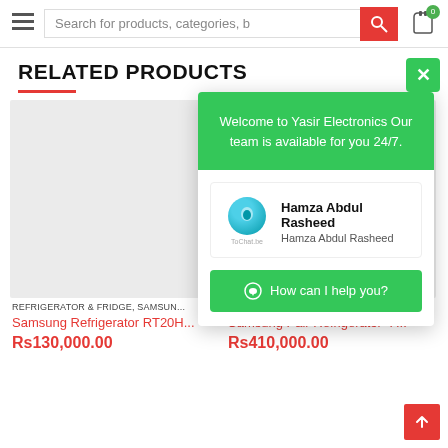Search for products, categories, b
RELATED PRODUCTS
REFRIGERATOR & FRIDGE, SAMSUN...
Samsung Refrigerator RT20H...
Rs130,000.00
REFRIGERATOR & FRIDGE, SAMSUN...
Samsung Pair Refrigerator+F...
Rs410,000.00
[Figure (screenshot): Chat widget popup from Yasir Electronics with ToChat.be branding showing agent Hamza Abdul Rasheed and a 'How can I help you?' button]
Welcome to Yasir Electronics Our team is available for you 24/7.
Hamza Abdul Rasheed
How can I help you?